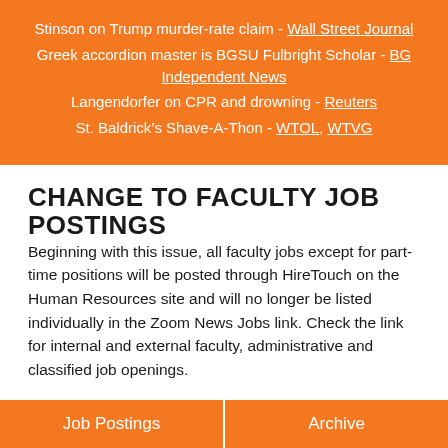Stinson on Trump murder-rate claim - Wall Street Journal
Greek accordion master is BGSU Fulbright Scholar - BG Independent News
Langendorfer on CPR and drowning - Reuters
St. Baldrick’s Shave-A-Thon - WTOL, WTVG
CHANGE TO FACULTY JOB POSTINGS
Beginning with this issue, all faculty jobs except for part-time positions will be posted through HireTouch on the Human Resources site and will no longer be listed individually in the Zoom News Jobs link. Check the link for internal and external faculty, administrative and classified job openings.
Job Postings | Archive